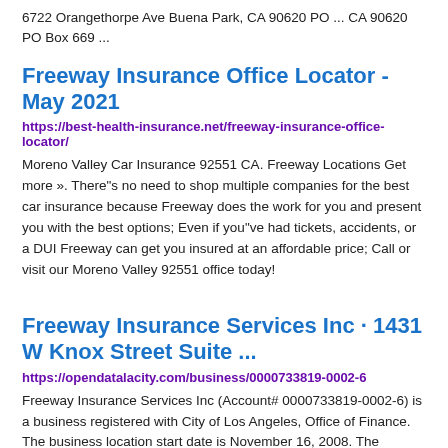6722 Orangethorpe Ave Buena Park, CA 90620 PO ... CA 90620 PO Box 669 ...
Freeway Insurance Office Locator - May 2021
https://best-health-insurance.net/freeway-insurance-office-locator/
Moreno Valley Car Insurance 92551 CA. Freeway Locations Get more ». There"s no need to shop multiple companies for the best car insurance because Freeway does the work for you and present you with the best options; Even if you"ve had tickets, accidents, or a DUI Freeway can get you insured at an affordable price; Call or visit our Moreno Valley 92551 office today!
Freeway Insurance Services Inc · 1431 W Knox Street Suite ...
https://opendatalacity.com/business/0000733819-0002-6
Freeway Insurance Services Inc (Account# 0000733819-0002-6) is a business registered with City of Los Angeles, Office of Finance. The business location start date is November 16, 2008. The address is 1431 W Knox Street Suite #1300, Torrance, CA 90501-1370.